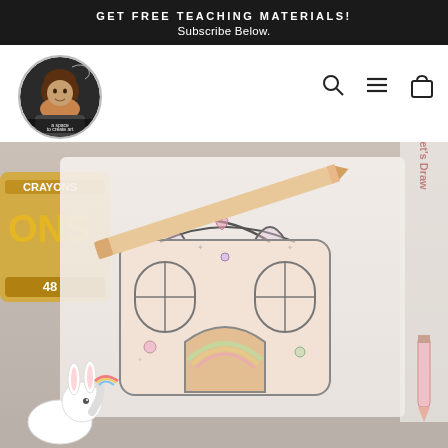GET FREE TEACHING MATERIALS! Subscribe Below.
[Figure (logo): Circular profile photo of a woman with brown hair, with decorative swirl text overlay reading 'a space to create art']
[Figure (infographic): Navigation bar with search icon (magnifying glass), hamburger menu icon, and shopping bag icon]
[Figure (photo): A colorful children's art drawing of a fairy tale house / candy house with arched windows and a rainbow door, partially colored with pastel colors. A pencil rests on top of the drawing. A box of 48 Crayons is visible on the left. On the right edge is a vertical 'Let's Draw' banner with a pencil illustration. In the bottom left is a cartoon white rabbit character holding a rainbow.]